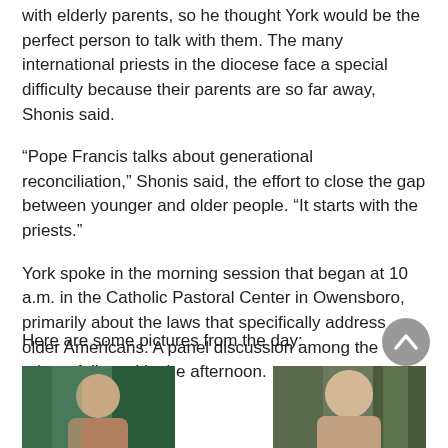with elderly parents, so he thought York would be the perfect person to talk with them. The many international priests in the diocese face a special difficulty because their parents are so far away, Shonis said.
“Pope Francis talks about generational reconciliation,” Shonis said, the effort to close the gap between younger and older people. “It starts with the priests.”
York spoke in the morning session that began at 10 a.m. in the Catholic Pastoral Center in Owensboro, primarily about the laws that specifically address older Americans. A panel discussion among the priests followed in the afternoon.
Here are some pictures from the day:
[Figure (photo): Photo of a woman, partially visible, against a green/teal background]
[Figure (photo): Photo of an older man, partially visible, against a green background]